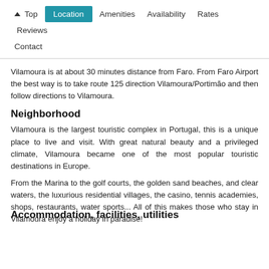↑ Top  Location  Amenities  Availability  Rates  Reviews  Contact
Vilamoura is at about 30 minutes distance from Faro. From Faro Airport the best way is to take route 125 direction Vilamoura/Portimão and then follow directions to Vilamoura.
Neighborhood
Vilamoura is the largest touristic complex in Portugal, this is a unique place to live and visit. With great natural beauty and a privileged climate, Vilamoura became one of the most popular touristic destinations in Europe.
From the Marina to the golf courts, the golden sand beaches, and clear waters, the luxurious residential villages, the casino, tennis academies, shops, restaurants, water sports... All of this makes those who stay in Vilamoura enjoy a holiday in paradise!
Accommodation, facilities, utilities